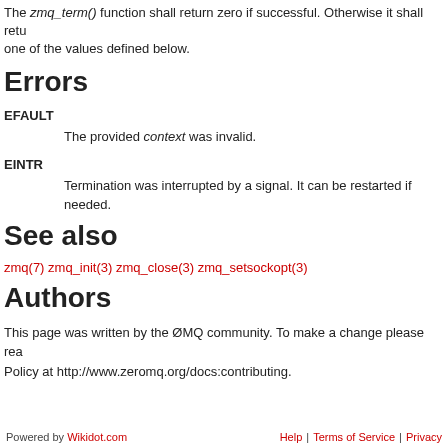The zmq_term() function shall return zero if successful. Otherwise it shall return one of the values defined below.
Errors
EFAULT
The provided context was invalid.
EINTR
Termination was interrupted by a signal. It can be restarted if needed.
See also
zmq(7) zmq_init(3) zmq_close(3) zmq_setsockopt(3)
Authors
This page was written by the ØMQ community. To make a change please read the ØMQ Contribution Policy at http://www.zeromq.org/docs:contributing.
Powered by Wikidot.com   Help | Terms of Service | Privacy